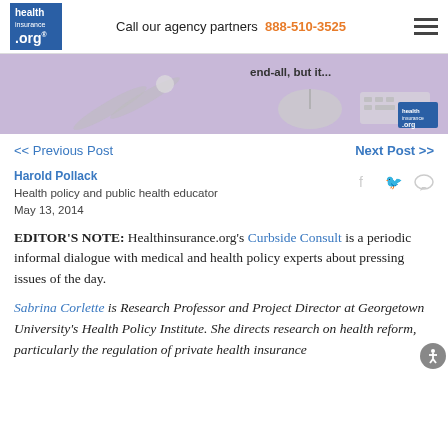healthinsurance.org — Call our agency partners 888-510-3525
[Figure (photo): Banner image with scissors, mouse, keyboard on lavender background with text 'end-all, but it...' and healthinsurance.org logo]
<< Previous Post   Next Post >>
Harold Pollack
Health policy and public health educator
May 13, 2014
EDITOR'S NOTE: Healthinsurance.org's Curbside Consult is a periodic informal dialogue with medical and health policy experts about pressing issues of the day.
Sabrina Corlette is Research Professor and Project Director at Georgetown University's Health Policy Institute. She directs research on health reform, particularly the regulation of private health insurance